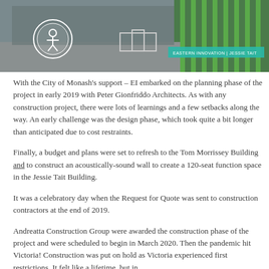[Figure (photo): Exterior photo of a building with green vertical panel facades and a circular logo/icon overlay on the left side. A teal banner with text 'EASTERN INNOVATION | JESSIE TAIT' is visible in the top right corner.]
With the City of Monash's support – EI embarked on the planning phase of the project in early 2019 with Peter Gionfriddo Architects. As with any construction project, there were lots of learnings and a few setbacks along the way. An early challenge was the design phase, which took quite a bit longer than anticipated due to cost restraints.
Finally, a budget and plans were set to refresh to the Tom Morrissey Building and to construct an acoustically-sound wall to create a 120-seat function space in the Jessie Tait Building.
It was a celebratory day when the Request for Quote was sent to construction contractors at the end of 2019.
Andreatta Construction Group were awarded the construction phase of the project and were scheduled to begin in March 2020. Then the pandemic hit Victoria! Construction was put on hold as Victoria experienced first restrictions. It felt like a lifetime, but in